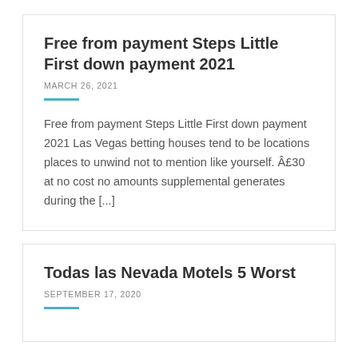Free from payment Steps Little First down payment 2021
MARCH 26, 2021
Free from payment Steps Little First down payment 2021 Las Vegas betting houses tend to be locations places to unwind not to mention like yourself. Â£30 at no cost no amounts supplemental generates during the [...]
Todas las Nevada Motels 5 Worst
SEPTEMBER 17, 2020